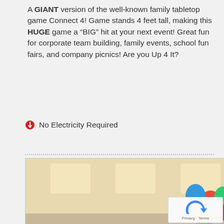A GIANT version of the well-known family tabletop game Connect 4! Game stands 4 feet tall, making this HUGE game a “BIG” hit at your next event! Great fun for corporate team building, family events, school fun fairs, and company picnics! Are you Up 4 It?
No Electricity Required
[Figure (photo): Photo of people playing a giant Jenga-style stacking block game at an indoor event. A tall tower of wooden blocks is on a round table with black tablecloth. People surround it, one person reaching up to place a block. Colorful balloons visible in background. Watermark: FourSeasonsAmusements.com]